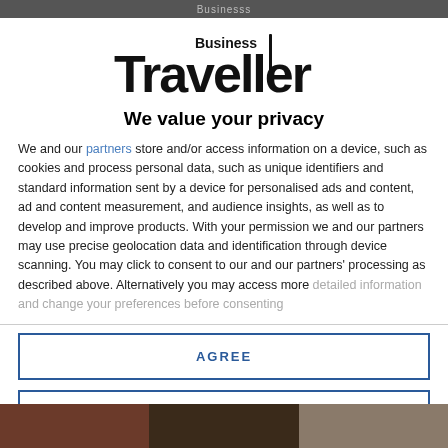Businesss
[Figure (logo): Business Traveller magazine logo with bold serif Traveller text]
We value your privacy
We and our partners store and/or access information on a device, such as cookies and process personal data, such as unique identifiers and standard information sent by a device for personalised ads and content, ad and content measurement, and audience insights, as well as to develop and improve products. With your permission we and our partners may use precise geolocation data and identification through device scanning. You may click to consent to our and our partners' processing as described above. Alternatively you may access more detailed information and change your preferences before consenting
AGREE
MORE OPTIONS
[Figure (photo): Bottom strip showing partial travel/hotel images]